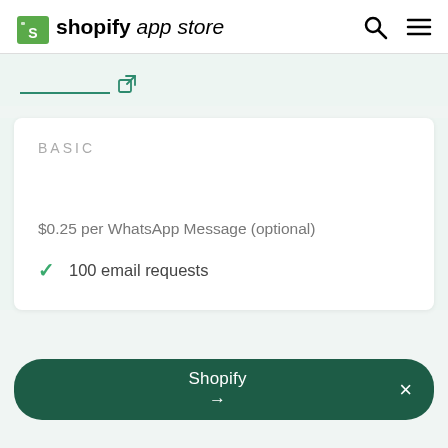[Figure (logo): Shopify App Store logo with green shopping bag icon, bold 'shopify' text and italic 'app store' text]
[Figure (other): Search icon (magnifying glass) and hamburger menu icon in header]
external link icon with underline
BASIC
$0.25 per WhatsApp Message (optional)
100 email requests
Shopify →